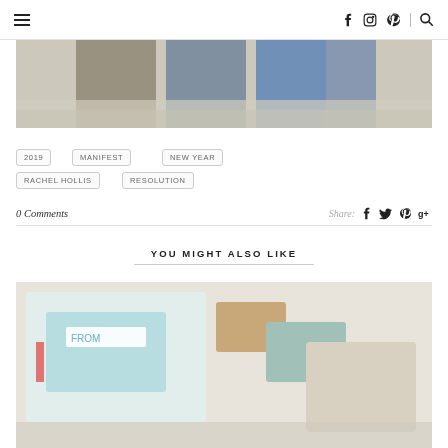navigation header with hamburger menu, social icons (Facebook, Instagram, Pinterest), and search
[Figure (photo): Three people standing on a beach, cropped at torso level]
2019
MANIFEST
NEW YEAR
RACHEL HOLLIS
RESOLUTION
0 Comments
Share:
YOU MIGHT ALSO LIKE
[Figure (photo): Gift wrapping items including boxes, ribbon and tags on a textured white surface]